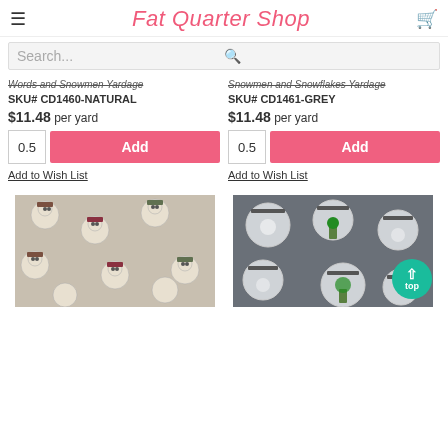Fat Quarter Shop
Search...
Words and Snowmen Yardage
SKU# CD1460-NATURAL
Snowmen and Snowflakes Yardage
SKU# CD1461-GREY
$11.48 per yard
$11.48 per yard
0.5  Add
0.5  Add
Add to Wish List
Add to Wish List
[Figure (photo): Christmas fabric with snowmen pattern on natural/cream background]
[Figure (photo): Christmas fabric with snow globe pattern on grey background]